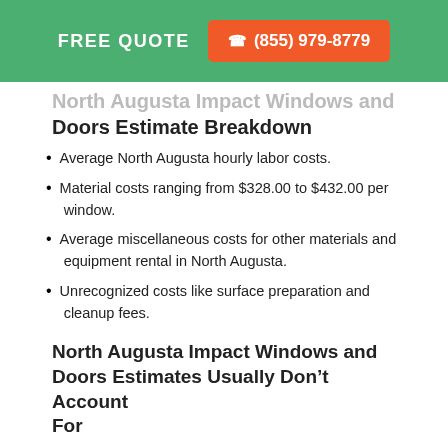FREE QUOTE  ☎ (855) 979-8779
North Augusta Impact Windows and Doors Estimate Breakdown
Average North Augusta hourly labor costs.
Material costs ranging from $328.00 to $432.00 per window.
Average miscellaneous costs for other materials and equipment rental in North Augusta.
Unrecognized costs like surface preparation and cleanup fees.
North Augusta Impact Windows and Doors Estimates Usually Don't Account For
South Carolina sales taxes for materials and related